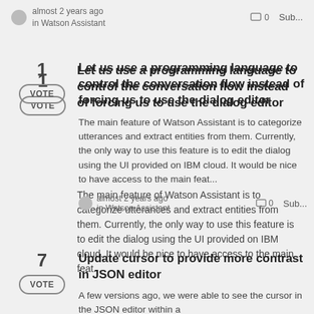almost 2 years ago in Watson Assistant  0  Sub...
Let us use a programming language to control the conversation flow instead of forcing us to use the dialog editor
The main feature of Watson Assistant is to categorize utterances and extract entities from them. Currently, the only way to use this feature is to edit the dialog using the UI provided on IBM cloud. It would be nice to have access to the main feat...
almost 2 years ago in Watson Assistant  0  Sub...
Update cursor to provide more contrast in JSON editor
A few versions ago, we were able to see the cursor in the JSON editor within a